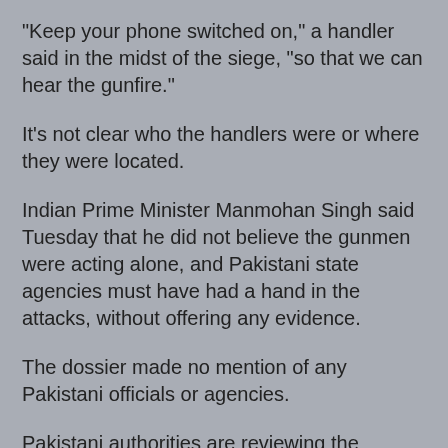"Keep your phone switched on," a handler said in the midst of the siege, "so that we can hear the gunfire."
It's not clear who the handlers were or where they were located.
Indian Prime Minister Manmohan Singh said Tuesday that he did not believe the gunmen were acting alone, and Pakistani state agencies must have had a hand in the attacks, without offering any evidence.
The dossier made no mention of any Pakistani officials or agencies.
Pakistani authorities are reviewing the evidence, but have dismissed Singh's claims as "a propaganda offensive" designed "to whip up tensions" in the region.
Indian leaders have made clear they do not want a military conflict with Pakistan, and Pakistan's intelligence chief said there will be no war over the Mumbai attacks. New York